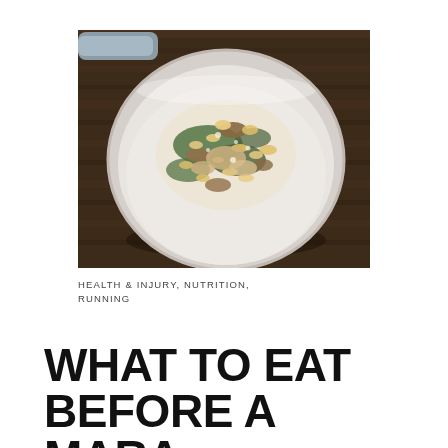[Figure (photo): A white ceramic bowl filled with pasta (rotini/fusilli), dark leafy greens (spinach/kale), mushrooms, chicken, and a creamy sauce, placed on a wooden table surface. A pan handle is visible in the upper left background.]
HEALTH & INJURY, NUTRITION, RUNNING
WHAT TO EAT BEFORE A MARATHON